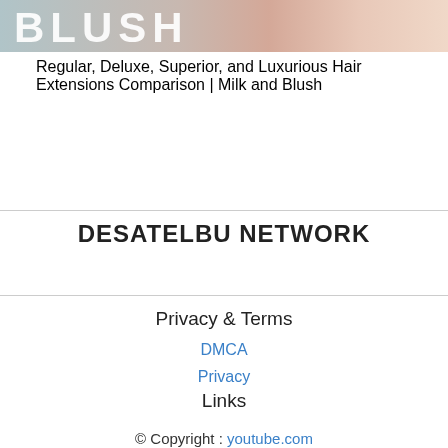[Figure (photo): Partial image of a woman with text overlay showing 'BLUSH' in large white letters, with pink/skin-tone background]
Regular, Deluxe, Superior, and Luxurious Hair Extensions Comparison | Milk and Blush
DESATELBU NETWORK
Privacy & Terms
DMCA
Privacy
Links
© Copyright : youtube.com